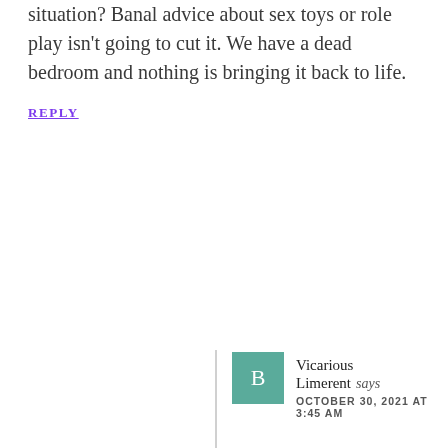situation? Banal advice about sex toys or role play isn't going to cut it. We have a dead bedroom and nothing is bringing it back to life.
REPLY
Vicarious Limerent says OCTOBER 30, 2021 AT 3:45 AM
I should point out too that I have that familial sort of incest taboo about my wife that is a characteristic of many troubled long-term relationships. I care about her and want the best for her, but she feels more like a sister than a wife to me by now. Trust me though when I say my wife